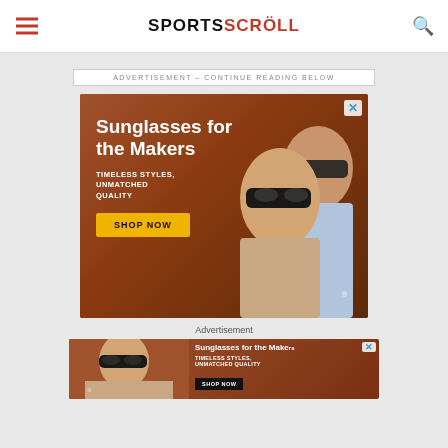SPORTSCROLL
ADVERTISEMENT - CONTINUE READING BELOW
[Figure (photo): Advertisement for sunglasses featuring two women wearing dark sunglasses on a brown/orange background. Text reads: Sunglasses for the Makers. TIMELESS STYLES, UNMATCHED QUALITY. SHOP NOW button in yellow.]
Advertisement
[Figure (photo): Smaller repeat advertisement banner for sunglasses. Shows cropped version of two women with sunglasses. Text: Sunglasses for the Make[rs]. TIMELESS STYLES, UNMATCHED QUALITY. SHOP NOW button.]